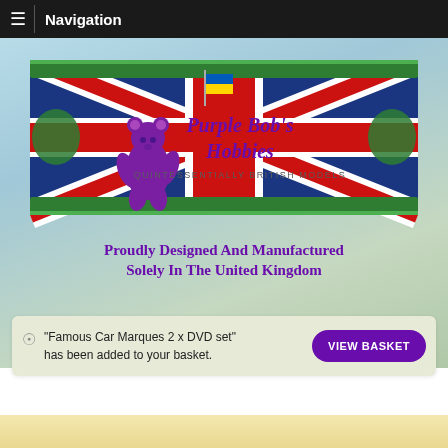Navigation
[Figure (logo): Purple Bob's Hobbies banner logo with Union Jack background, purple teddy bear, Ukrainian flag, and ornate green frame. Text reads: PURPLE BOB'S HOBBIES – QUINTESSENTIALLY BRITISH MODELS]
Proudly Designed And Manufactured Solely In The United Kingdom
"Famous Car Marques 2 x DVD set" has been added to your basket.
VIEW BASKET